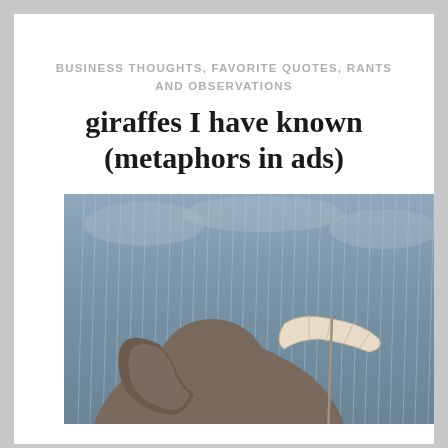BUSINESS THOUGHTS, FAVORITE QUOTES, RANTS AND OBSERVATIONS
giraffes I have known (metaphors in ads)
[Figure (photo): An elephant holding a cream/white umbrella in the rain, viewed from behind against a stormy blue-grey sky background.]